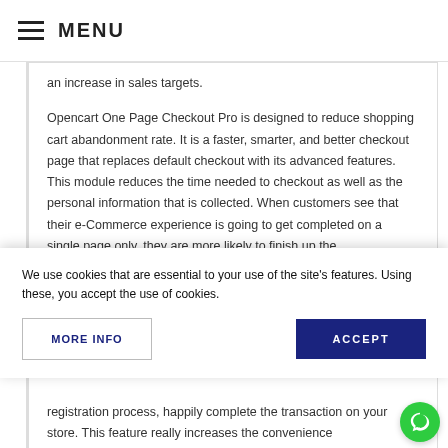MENU
an increase in sales targets.
Opencart One Page Checkout Pro is designed to reduce shopping cart abandonment rate. It is a faster, smarter, and better checkout page that replaces default checkout with its advanced features. This module reduces the time needed to checkout as well as the personal information that is collected. When customers see that their e-Commerce experience is going to get completed on a single page only, they are more likely to finish up the
We use cookies that are essential to your use of the site's features. Using these, you accept the use of cookies.
MORE INFO
ACCEPT
registration process, happily complete the transaction on your store. This feature really increases the convenience